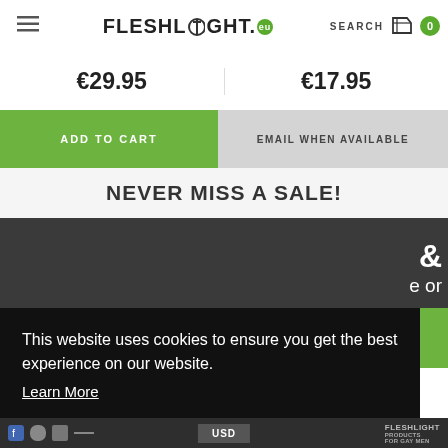FLESHLIGHT.eu | SEARCH | Cart 0
€29.95
€17.95
ADD TO CART
EMAIL WHEN AVAILABLE
NEVER MISS A SALE!
This website uses cookies to ensure you get the best experience on our website. Learn More
Got it!
USD